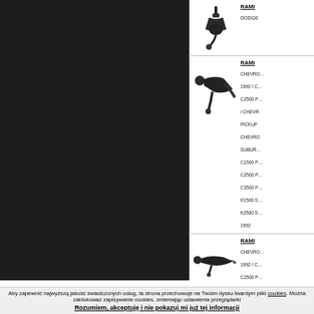[Figure (photo): Dark left panel background, product catalog sidebar]
RAMI… (partially visible product name)
DODGE
[Figure (photo): Steering tie rod end part, black metal component, first item]
RAMI… (partially visible product name)
CHEVRO… 1992 / C… C2500 P… / CHEVR PICKUP CHEVRO SUBUR… C1500 P… C2500 P… C3500 P… K1500 S… K2500 S… 1992
[Figure (photo): Steering tie rod end part, black metal component, second item]
RAMI… (partially visible product name)
CHEVRO… 1992 / C… C2500 P… / CHEVR PICKUP
[Figure (photo): Steering tie rod end part, black metal component, third item]
Aby zapewnić najwyższą jakość świadczonych usług, ta strona przechowuje na Twoim dysku twardym pliki cookies. Można zablokować zapisywanie cookies, zmieniając ustawienia przeglądarki Rozumiem, akceptuję i nie pokazuj mi już tej informacji